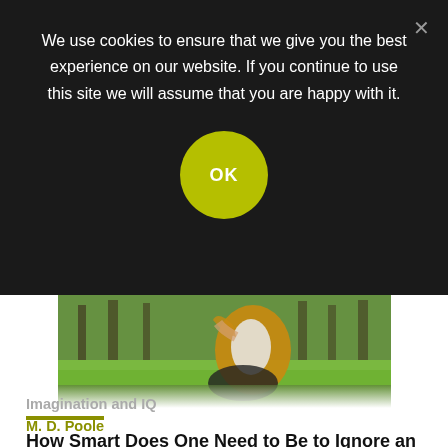We use cookies to ensure that we give you the best experience on our website. If you continue to use this site we will assume that you are happy with it.
[Figure (screenshot): Cookie consent OK button (yellow-green circular button with OK text)]
[Figure (photo): Woman in yellow jacket sitting cross-legged on grass in a park]
How Smart Does One Need to Be to Ignore an Authority's Opinion?
Imagination and IQ
M. D. Poole